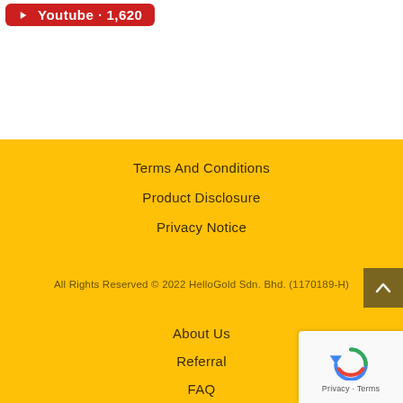[Figure (logo): YouTube button with icon and subscriber count '1,620' in white text on red background]
Terms And Conditions
Product Disclosure
Privacy Notice
All Rights Reserved © 2022 HelloGold Sdn. Bhd. (1170189-H)
About Us
Referral
FAQ
Contact Us